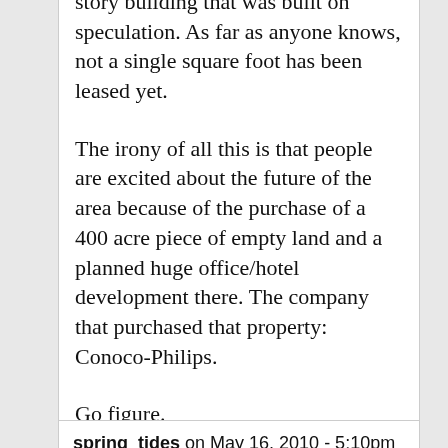story building that was built on speculation. As far as anyone knows, not a single square foot has been leased yet.

The irony of all this is that people are excited about the future of the area because of the purchase of a 400 acre piece of empty land and a planned huge office/hotel development there. The company that purchased that property: Conoco-Philips.

Go figure.
spring_tides on May 16, 2010 - 5:10pm Permalink | Parent | Comments top